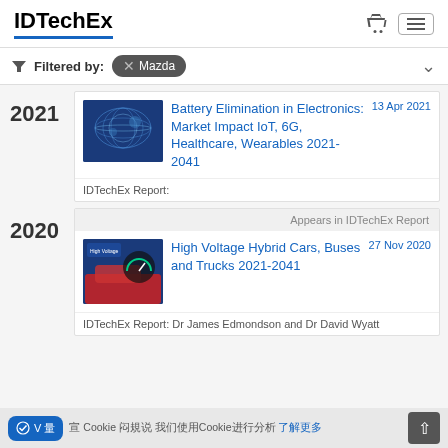IDTechEx
Filtered by: Mazda
2021
Battery Elimination in Electronics: Market Impact IoT, 6G, Healthcare, Wearables 2021-2041 — 13 Apr 2021
IDTechEx Report:
2020
Appears in IDTechEx Report
High Voltage Hybrid Cars, Buses and Trucks 2021-2041 — 27 Nov 2020
IDTechEx Report: Dr James Edmondson and Dr David Wyatt
Cookie — (cookie consent text with link)